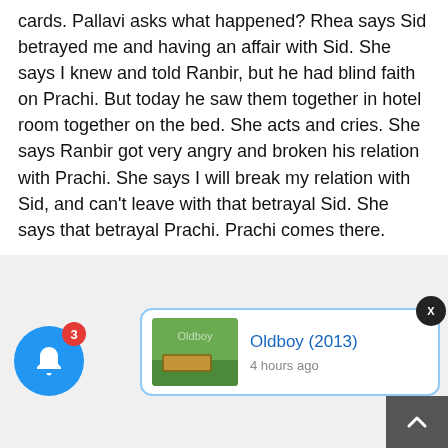cards. Pallavi asks what happened? Rhea says Sid betrayed me and having an affair with Sid. She says I knew and told Ranbir, but he had blind faith on Prachi. But today he saw them together in hotel room together on the bed. She acts and cries. She says Ranbir got very angry and broken his relation with Prachi. She says I will break my relation with Sid, and can't leave with that betrayal Sid. She says that betrayal Prachi. Prachi comes there.
[Figure (screenshot): Notification card showing 'Oldboy (2013)' with a thumbnail image and '4 hours ago' timestamp, with a close X button]
[Figure (other): Blue circular bell notification button with red badge showing '3']
[Figure (other): Dark scroll-to-top button with up arrow chevron]